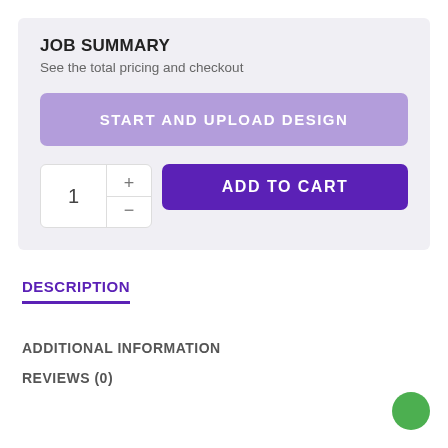JOB SUMMARY
See the total pricing and checkout
START AND UPLOAD DESIGN
1
ADD TO CART
DESCRIPTION
ADDITIONAL INFORMATION
REVIEWS (0)